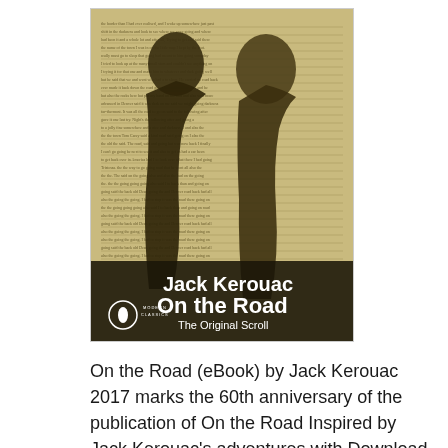[Figure (illustration): Book cover of 'On the Road: The Original Scroll' by Jack Kerouac, Penguin Modern Classics edition. The cover shows silhouettes of two figures (one facing left, one right) overlaid on dense text/manuscript pages forming a collage background. White text at the bottom reads 'Jack Kerouac / On the Road / The Original Scroll' with a Penguin logo.]
On the Road (eBook) by Jack Kerouac 2017 marks the 60th anniversary of the publication of On the Road Inspired by Jack Kerouac's adventures with Download the TRISTESSA JACK KEROUAC EPUB DOWNLOAD. Tristessa